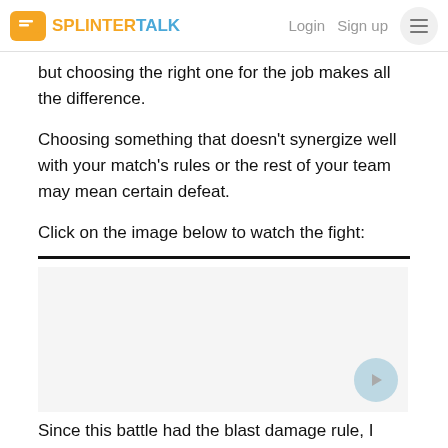SPLINTER TALK | Login | Sign up
but choosing the right one for the job makes all the difference.
Choosing something that doesn't synergize well with your match's rules or the rest of your team may mean certain defeat.
Click on the image below to watch the fight:
[Figure (other): Image placeholder with a play button in the bottom right corner, representing a video thumbnail of a battle fight.]
Since this battle had the blast damage rule, I